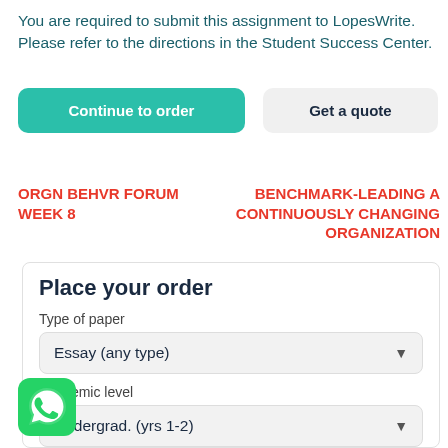You are required to submit this assignment to LopesWrite. Please refer to the directions in the Student Success Center.
Continue to order
Get a quote
ORGN BEHVR FORUM WEEK 8
BENCHMARK-LEADING A CONTINUOUSLY CHANGING ORGANIZATION
Place your order
Type of paper
Essay (any type)
Academic level
Undergrad. (yrs 1-2)
[Figure (logo): WhatsApp green icon with phone handset]